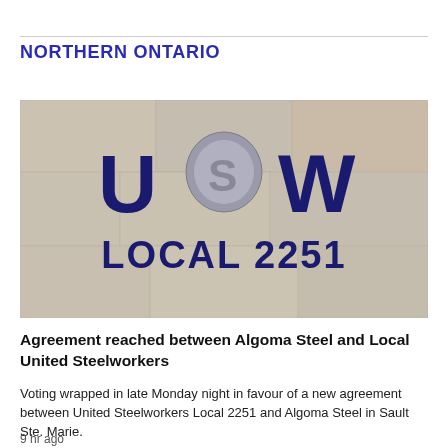NORTHERN ONTARIO
[Figure (photo): Sign on a concrete or stone wall displaying 'USW LOCAL 2251' in dark blue letters, with the USW (United Steelworkers) logo above.]
Agreement reached between Algoma Steel and Local United Steelworkers
Voting wrapped in late Monday night in favour of a new agreement between United Steelworkers Local 2251 and Algoma Steel in Sault Ste. Marie.
9 hr ago